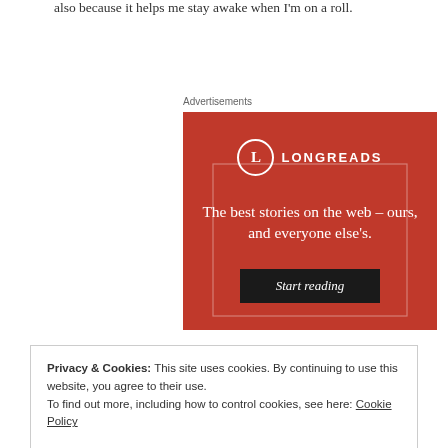also because it helps me stay awake when I'm on a roll.
Advertisements
[Figure (illustration): Longreads advertisement on red background with logo, tagline 'The best stories on the web – ours, and everyone else's.' and a 'Start reading' button.]
Privacy & Cookies: This site uses cookies. By continuing to use this website, you agree to their use.
To find out more, including how to control cookies, see here: Cookie Policy